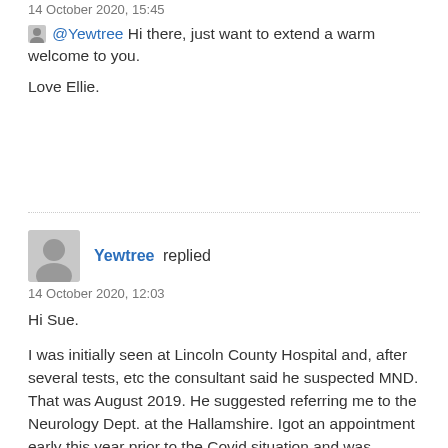14 October 2020, 15:45
👤 @Yewtree Hi there, just want to extend a warm welcome to you.
Love Ellie.
Yewtree replied
14 October 2020, 12:03
Hi Sue.

I was initially seen at Lincoln County Hospital and, after several tests, etc the consultant said he suspected MND. That was August 2019. He suggested referring me to the Neurology Dept. at the Hallamshire. Igot an appointment early this year prior to the Covid situation and was introduced to Professor McDermott. Initial reaction to meeting him was that he lacked a bit of bedside manner. This soon disappeared as we got deeper into the interrogation of the problem. He is a terrific person, a bit blunt, but, as a retired police officer, I'm happy with that. His team at the Hallamshire is headed by Theresa Walsh (I think she is a Sister). They are all dedicated professionals and provided an excellent service. Sadly I have not been able to